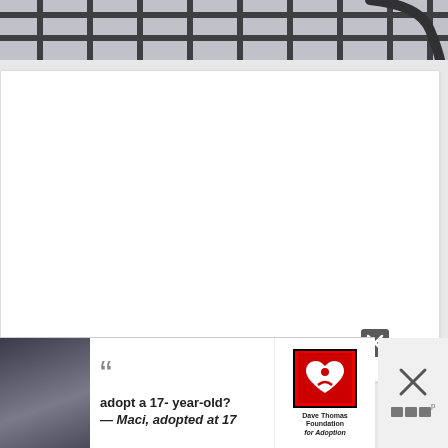[Figure (photo): Close-up photo of dark metal wire grid/rack pattern on light background]
[Figure (photo): White card area with empty white space, heart and share floating action buttons on right side]
[Figure (photo): Advertisement banner: adopt a 17-year-old? — Maci, adopted at 17. Dave Thomas Foundation for Adoption. Shows photo of teenage girl.]